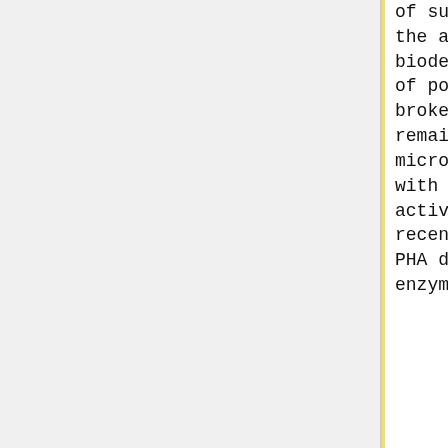of substrates, has the ability to biodegrade a group of polymers not broken down by the remaining classified microbial enzymes with biodegradation activity. The most recently classified PHA depolymerases enzymes were...
of substrates, has the ability to biodegrade a group of polymers not broken down by the remaining classified microbial enzymes with biodegradation activity. The most recently classified PHA depolymerases enzymes were...